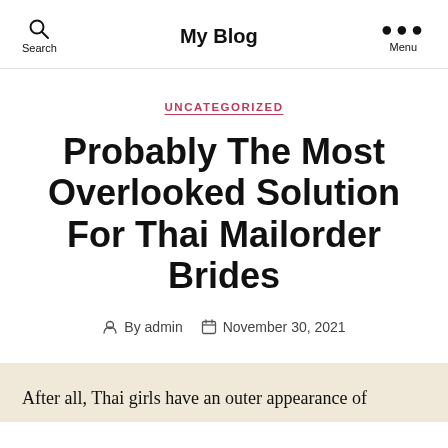My Blog
UNCATEGORIZED
Probably The Most Overlooked Solution For Thai Mailorder Brides
By admin  November 30, 2021
After all, Thai girls have an outer appearance of